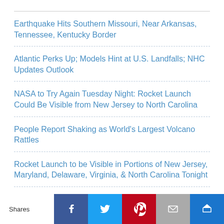Earthquake Hits Southern Missouri, Near Arkansas, Tennessee, Kentucky Border
Atlantic Perks Up; Models Hint at U.S. Landfalls; NHC Updates Outlook
NASA to Try Again Tuesday Night: Rocket Launch Could Be Visible from New Jersey to North Carolina
People Report Shaking as World's Largest Volcano Rattles
Rocket Launch to be Visible in Portions of New Jersey, Maryland, Delaware, Virginia, & North Carolina Tonight
[Figure (infographic): Social share bar with buttons for Facebook, Twitter, Pinterest, Email, and an additional share button. A 'Shares' label is on the left.]